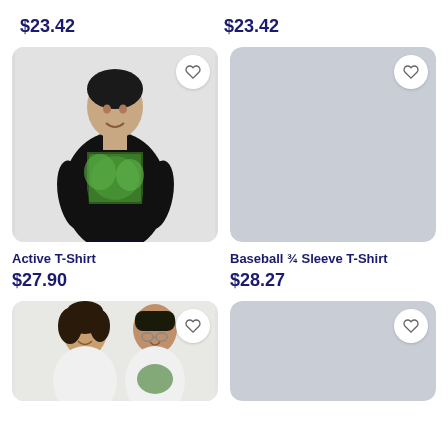$23.42
$23.42
[Figure (photo): Man wearing a black graphic t-shirt with nature print, against light gray background]
[Figure (photo): Gray placeholder image for product]
Active T-Shirt
Baseball ¾ Sleeve T-Shirt
$27.90
$28.27
[Figure (photo): Two people (man and woman) wearing white t-shirts, partially visible at bottom]
[Figure (photo): Gray placeholder image for product]